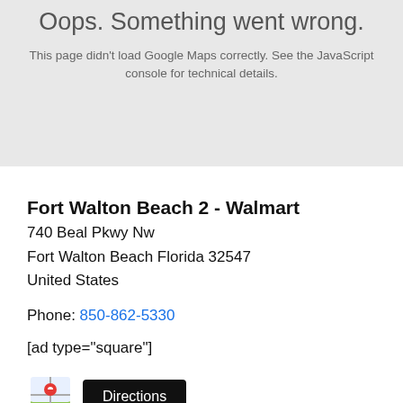Oops. Something went wrong.
This page didn't load Google Maps correctly. See the JavaScript console for technical details.
Fort Walton Beach 2 - Walmart
740 Beal Pkwy Nw
Fort Walton Beach Florida 32547
United States
Phone: 850-862-5330
[ad type="square"]
[Figure (other): Google Maps icon and Directions button]